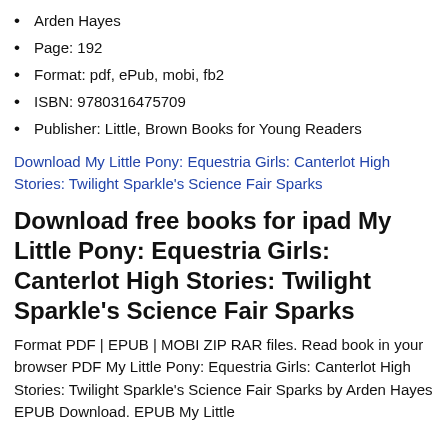Arden Hayes
Page: 192
Format: pdf, ePub, mobi, fb2
ISBN: 9780316475709
Publisher: Little, Brown Books for Young Readers
Download My Little Pony: Equestria Girls: Canterlot High Stories: Twilight Sparkle's Science Fair Sparks
Download free books for ipad My Little Pony: Equestria Girls: Canterlot High Stories: Twilight Sparkle's Science Fair Sparks
Format PDF | EPUB | MOBI ZIP RAR files. Read book in your browser PDF My Little Pony: Equestria Girls: Canterlot High Stories: Twilight Sparkle's Science Fair Sparks by Arden Hayes EPUB Download. EPUB My Little